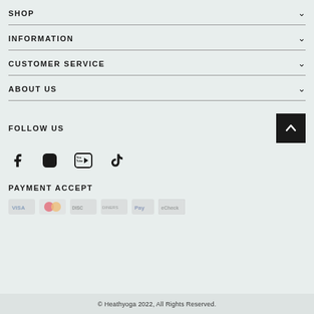SHOP
INFORMATION
CUSTOMER SERVICE
ABOUT US
FOLLOW US
[Figure (other): Social media icons: Facebook, Instagram, YouTube, TikTok]
PAYMENT ACCEPT
[Figure (other): Payment method icons: Visa, Mastercard, Discover, Diners, Pay, and others - faded]
© Heathyoga 2022, All Rights Reserved.